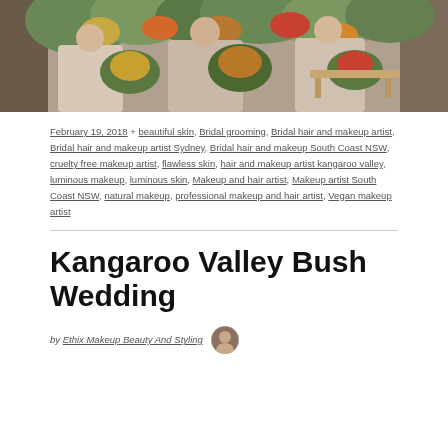[Figure (photo): Three bridesmaids in light beige/blush dresses holding large floral bouquets with greenery and colorful flowers, standing outdoors at a bush wedding venue.]
February 19, 2018 + beautiful skin, Bridal grooming, Bridal hair and makeup artist, Bridal hair and makeup artist Sydney, Bridal hair and makeup South Coast NSW, cruelty free makeup artist, flawless skin, hair and makeup artist kangaroo valley, luminous makeup, luminous skin, Makeup and hair artist, Makeup artist South Coast NSW, natural makeup, professional makeup and hair artist, Vegan makeup artist
Kangaroo Valley Bush Wedding
by Ethix Makeup Beauty And Styling